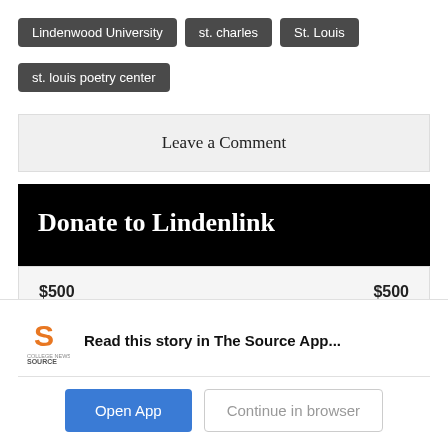Lindenwood University
st. charles
St. Louis
st. louis poetry center
Leave a Comment
Donate to Lindenlink
$500   $500
Read this story in The Source App...
Open App   Continue in browser